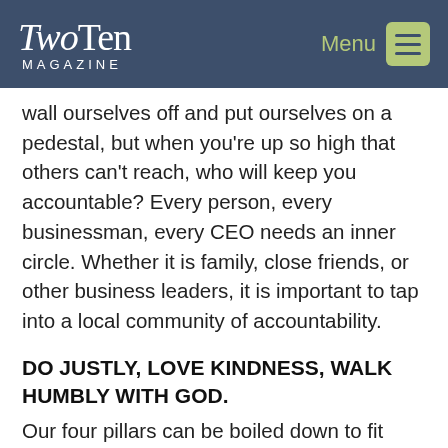TwoTen Magazine | Menu
wall ourselves off and put ourselves on a pedestal, but when you're up so high that others can't reach, who will keep you accountable? Every person, every businessman, every CEO needs an inner circle. Whether it is family, close friends, or other business leaders, it is important to tap into a local community of accountability.
DO JUSTLY, LOVE KINDNESS, WALK HUMBLY WITH GOD.
Our four pillars can be boiled down to fit quite nicely into the framework of Micah 6:8: when we do